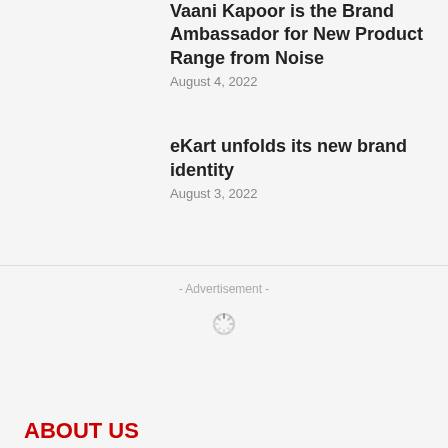Vaani Kapoor is the Brand Ambassador for New Product Range from Noise
August 4, 2022
eKart unfolds its new brand identity
August 3, 2022
- Advertisement -
[Figure (other): Loading spinner icon]
ABOUT US
Founded by Conceptual Pictures Worldwide Pvt Ltd,